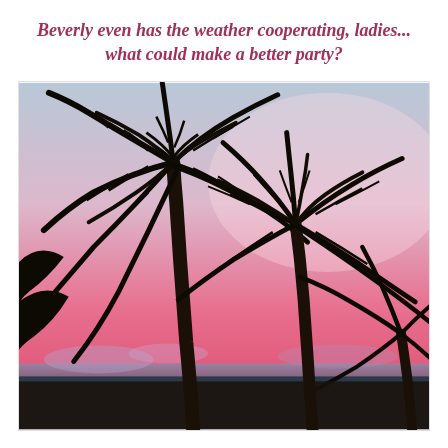Beverly even has the weather cooperating, ladies... what could make a better party?
[Figure (photo): Tropical sunset photo showing silhouettes of palm trees against a pink and blue gradient sky, with a hint of ocean and clouds at the horizon.]